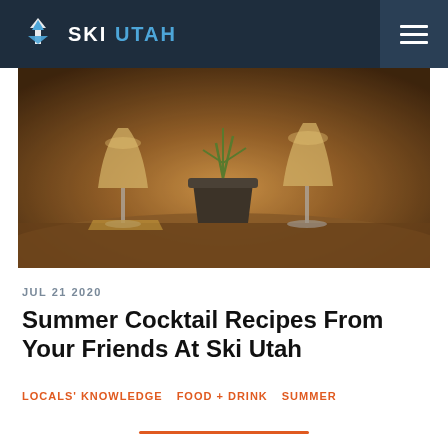SKI UTAH
[Figure (photo): Two cocktail glasses with light-colored drinks on a table, with a dark plant pot in the center, warm ambient lighting]
JUL 21 2020
Summer Cocktail Recipes From Your Friends At Ski Utah
LOCALS' KNOWLEDGE   FOOD + DRINK   SUMMER